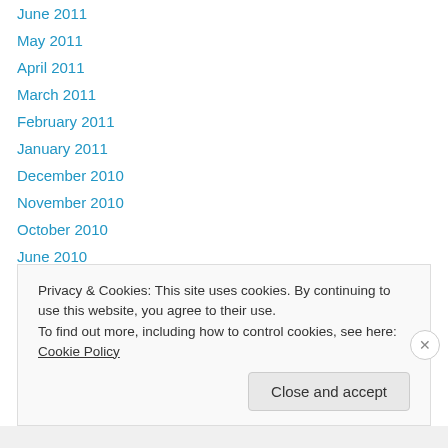June 2011
May 2011
April 2011
March 2011
February 2011
January 2011
December 2010
November 2010
October 2010
June 2010
March 2010
February 2010
January 2010
Privacy & Cookies: This site uses cookies. By continuing to use this website, you agree to their use.
To find out more, including how to control cookies, see here: Cookie Policy